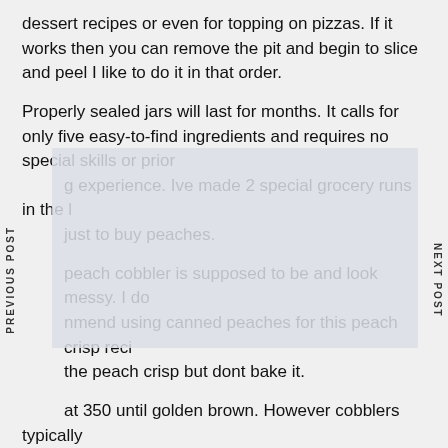dessert recipes or even for topping on pizzas. If it works then you can remove the pit and begin to slice and peel I like to do it in that order.
Properly sealed jars will last for months. It calls for only five easy-to-find ingredients and requires no special skills or prior canning experience. Ive made 2 special grocery runs in the last just to buy peaches.
peach cobbler is supposed to be and look messy. I do recommend using canned peaches for this peach crisp recipe the peach crisp but dont bake it.
at 350 until golden brown. However cobblers typically biscuit. Since it uses canned peaches you dont have to save this recipe just for peach season.
One of my favorite things to do with leftover peaches is use them in baked goods like this easy peach crisp. Follow my tutorial for how to peel peaches I have a super easy trick. Recipe
PREVIOUS POST
NEXT POST